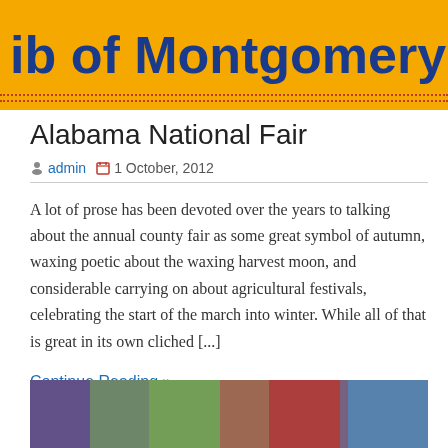[Figure (screenshot): Yellow banner with bold blue text reading 'ib of Montgomery' with red dotted border at bottom]
Alabama National Fair
admin  1 October, 2012
A lot of prose has been devoted over the years to talking about the annual county fair as some great symbol of autumn, waxing poetic about the waxing harvest moon, and considerable carrying on about agricultural festivals, celebrating the start of the march into winter. While all of that is great in its own cliched [...]
Continue Reading »
[Figure (photo): Partial image of bookshelves with colorful book spines visible at bottom of page]